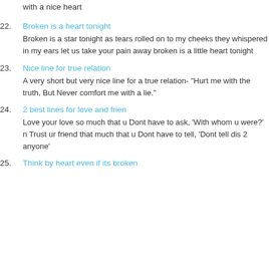with a nice heart
22. Broken is a heart tonight
Broken is a star tonight as tears rolled on to my cheeks they whispered in my ears let us take your pain away broken is a little heart tonight
23. Nice line for true relation
A very short but very nice line for a true relation- "Hurt me with the truth, But Never comfort me with a lie."
24. 2 best lines for love and frien
Love your love so much that u Dont have to ask, 'With whom u were?' n Trust ur friend that much that u Dont have to tell, 'Dont tell dis 2 anyone'
25. Think by heart even if its broken